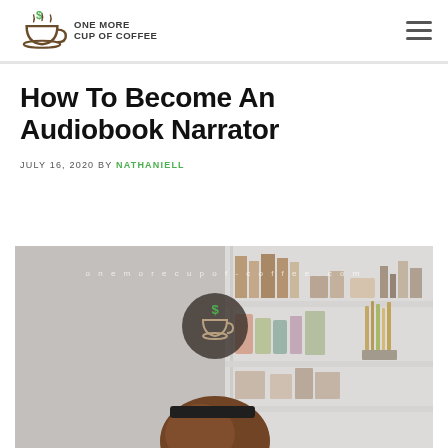One More Cup of Coffee
How To Become An Audiobook Narrator
JULY 16, 2020 BY NATHANIELL
[Figure (photo): Woman seen from behind with brown hair and headband, sitting in front of white shelves with books and decorative items, with a watermark reading onemorecupof-coffee.com and a coffee cup logo overlay]